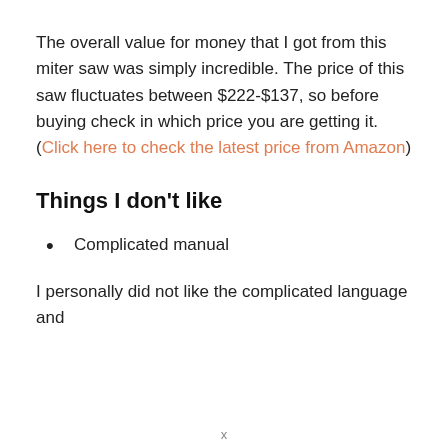The overall value for money that I got from this miter saw was simply incredible. The price of this saw fluctuates between $222-$137, so before buying check in which price you are getting it. (Click here to check the latest price from Amazon)
Things I don't like
Complicated manual
I personally did not like the complicated language and
x